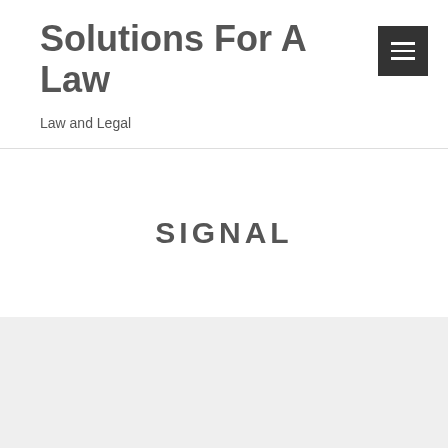Solutions For A Law
Law and Legal
SIGNAL
Congress Sends Covid Help